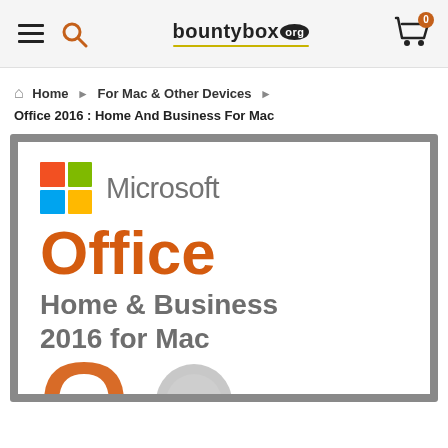bountybox.org — navigation header with hamburger menu, search icon, logo, cart icon with badge 0
Home › For Mac & Other Devices › Office 2016 : Home And Business For Mac
[Figure (photo): Microsoft Office Home & Business 2016 for Mac product box image. Shows Microsoft logo (four colored squares: red, green, blue, yellow) with 'Microsoft' in gray, 'Office' in large orange text, 'Home & Business 2016 for Mac' in gray below, and partial orange Office icon at bottom.]